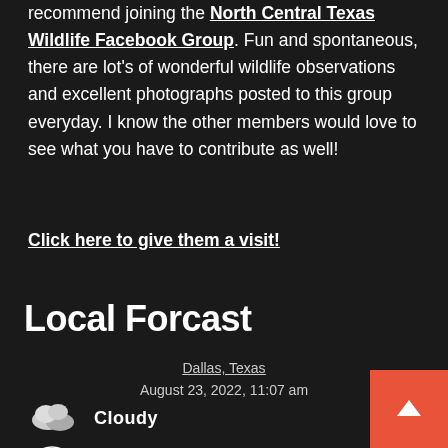recommend joining the North Central Texas Wildlife Facebook Group. Fun and spontaneous, there are lot's of wonderful wildlife observations and excellent photographs posted to this group everyday. I know the other members would love to see what you have to contribute as well!
Click here to give them a visit!
Local Forcast
Dallas, Texas
August 23, 2022, 11:07 am
[Figure (other): Weather widget showing cloudy conditions icon (cloud) and a gauge/compass icon]
Cloudy
77°F